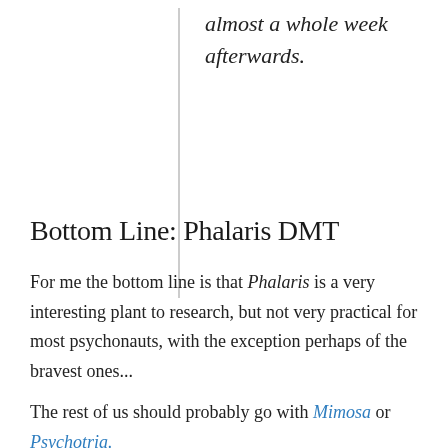almost a whole week afterwards.
Bottom Line: Phalaris DMT
For me the bottom line is that Phalaris is a very interesting plant to research, but not very practical for most psychonauts, with the exception perhaps of the bravest ones...
The rest of us should probably go with Mimosa or Psychotria.